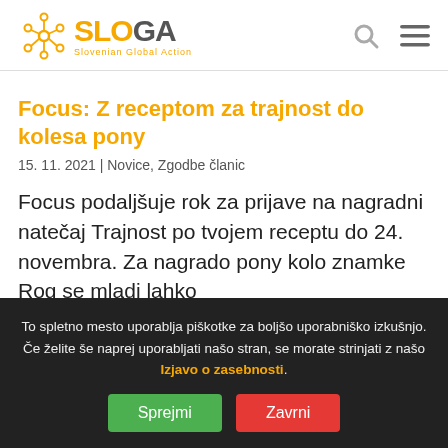SLOGA – Slovenian Global Action
Focus: Z receptom za trajnost do kolesa pony
15. 11. 2021 | Novice, Zgodbe članic
Focus podaljšuje rok za prijave na nagradni natečaj Trajnost po tvojem receptu do 24. novembra. Za nagrado pony kolo znamke Rog se mladi lahko
To spletno mesto uporablja piškotke za boljšo uporabniško izkušnjo. Če želite še naprej uporabljati našo stran, se morate strinjati z našo Izjavo o zasebnosti.
Sprejmi   Zavrni